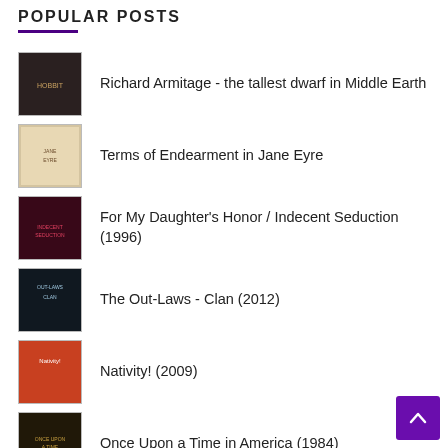POPULAR POSTS
Richard Armitage - the tallest dwarf in Middle Earth
Terms of Endearment in Jane Eyre
For My Daughter's Honor / Indecent Seduction (1996)
The Out-Laws - Clan (2012)
Nativity! (2009)
Once Upon a Time in America (1984)
Jane and her Master by Stephen